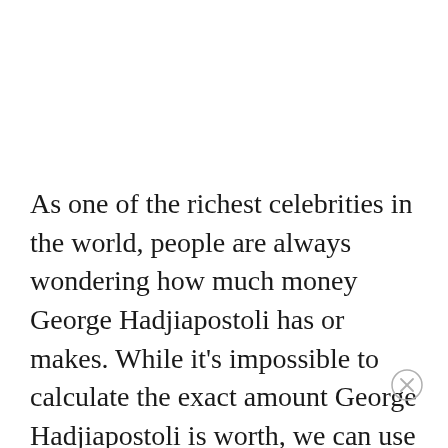As one of the richest celebrities in the world, people are always wondering how much money George Hadjiapostoli has or makes. While it's impossible to calculate the exact amount George Hadjiapostoli is worth, we can use publicly available information such as salary, investments, businesses, endorsements, and other income to estimate a net worth for 2022.